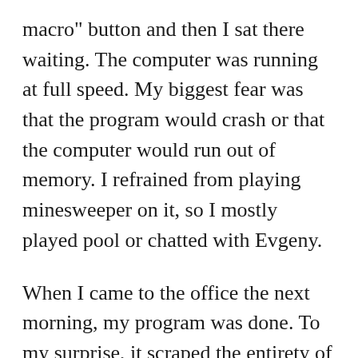macro" button and then I sat there waiting. The computer was running at full speed. My biggest fear was that the program would crash or that the computer would run out of memory. I refrained from playing minesweeper on it, so I mostly played pool or chatted with Evgeny.
When I came to the office the next morning, my program was done. To my surprise, it scraped the entirety of SilverPages, and there were many thousands of entries in the list. I sent the document to my boss via E-Mail and then got back to playing minesweeper.
An hour later, three guys with suits were standing behind me. I had to show them the list again. They couldn't believe I did that on my own, so I showed